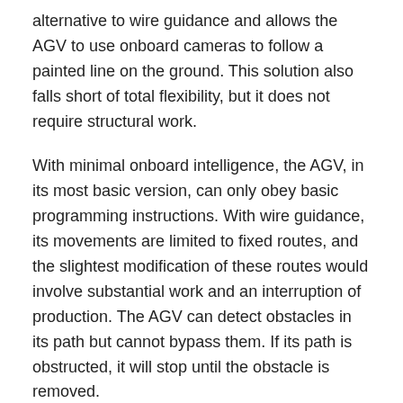alternative to wire guidance and allows the AGV to use onboard cameras to follow a painted line on the ground. This solution also falls short of total flexibility, but it does not require structural work.
With minimal onboard intelligence, the AGV, in its most basic version, can only obey basic programming instructions. With wire guidance, its movements are limited to fixed routes, and the slightest modification of these routes would involve substantial work and an interruption of production. The AGV can detect obstacles in its path but cannot bypass them. If its path is obstructed, it will stop until the obstacle is removed.
AMRs: More autonomous, more flexible